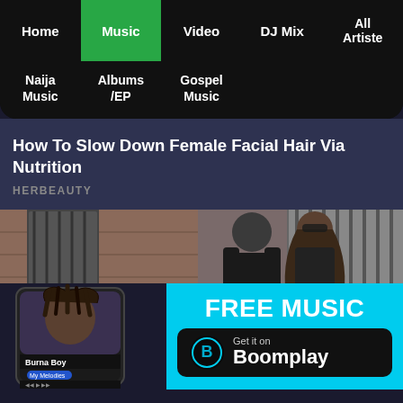Home | Music | Video | DJ Mix | All Artiste
Naija Music
Albums /EP
Gospel Music
How To Slow Down Female Facial Hair Via Nutrition
HERBEAUTY
[Figure (photo): A couple standing close together outdoors near a brick wall and iron gate; man in black t-shirt, woman with long hair and sunglasses]
[Figure (infographic): Boomplay music app advertisement banner with cyan background. Shows Burna Boy album art on a phone screen on left. Right side shows 'FREE MUSIC' text in white and a black button saying 'Get it on Boomplay' with the Boomplay logo.]